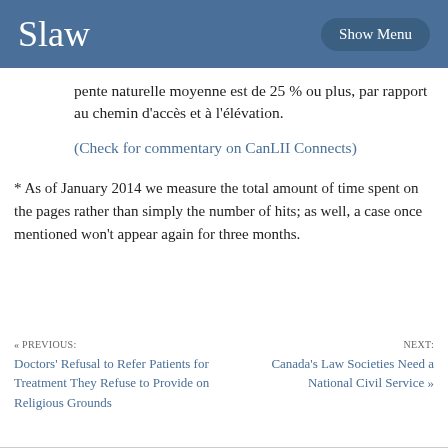Slaw  Show Menu
pente naturelle moyenne est de 25 % ou plus, par rapport au chemin d’accès et à l’élévation.
(Check for commentary on CanLII Connects)
* As of January 2014 we measure the total amount of time spent on the pages rather than simply the number of hits; as well, a case once mentioned won’t appear again for three months.
« PREVIOUS: Doctors’ Refusal to Refer Patients for Treatment They Refuse to Provide on Religious Grounds
NEXT: Canada’s Law Societies Need a National Civil Service »